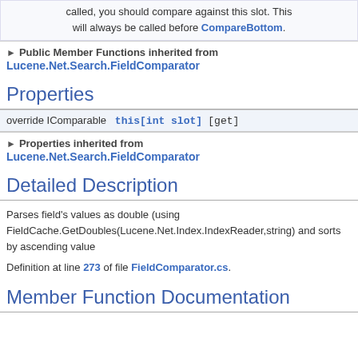called, you should compare against this slot. This will always be called before CompareBottom.
► Public Member Functions inherited from Lucene.Net.Search.FieldComparator
Properties
|  |  |  |
| --- | --- | --- |
| override IComparable | this[int slot] | [get] |
► Properties inherited from Lucene.Net.Search.FieldComparator
Detailed Description
Parses field's values as double (using FieldCache.GetDoubles(Lucene.Net.Index.IndexReader,string) and sorts by ascending value
Definition at line 273 of file FieldComparator.cs.
Member Function Documentation